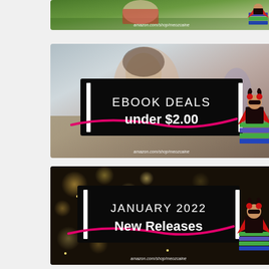[Figure (illustration): Partial banner at top showing outdoor/grass background with woman reading and superhero character on books stack, with amazon.com/shop/meozcaine URL]
[Figure (illustration): Promotional banner for ebook deals under $2.00 with woman using phone as background, black text box with EBOOK DEALS and under $2.00, pink swoosh decoration, superhero character on books, amazon.com/shop/meozcaine URL]
[Figure (illustration): Promotional banner for January 2022 New Releases with dark bokeh/sparkle background, black text box with JANUARY 2022 and New Releases, pink swoosh decoration, superhero character on books, amazon.com/shop/meozcaine URL]
[Figure (illustration): Partial banner at bottom showing light background, partially visible]